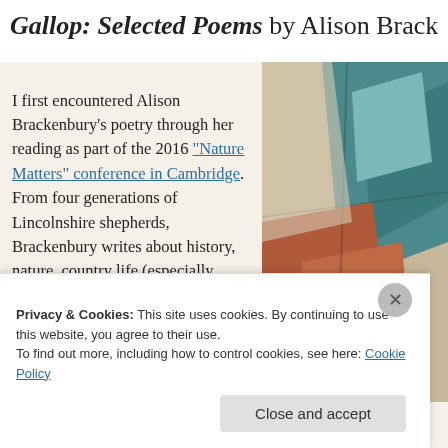Gallop: Selected Poems by Alison Brack
I first encountered Alison Brackenbury’s poetry through her reading as part of the 2016 “Nature Matters” conference in Cambridge. From four generations of Lincolnshire shepherds, Brackenbury writes about history, nature, country life (especially horses, as you might guess from the title and cover) and everyday joys and regrets. A Collected/Selected
[Figure (photo): Book cover of Gallop: Selected Poems, showing an abstract painting with teal, orange, and muted colors suggesting a figure or landscape]
Privacy & Cookies: This site uses cookies. By continuing to use this website, you agree to their use.
To find out more, including how to control cookies, see here: Cookie Policy
Close and accept